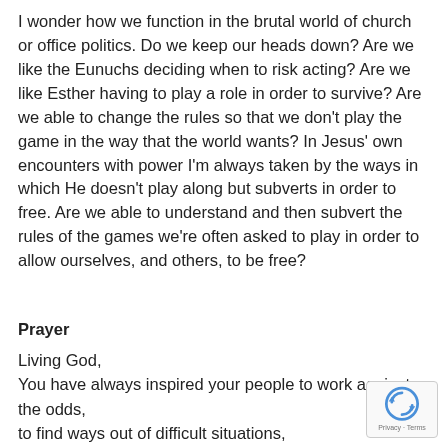I wonder how we function in the brutal world of church or office politics.  Do we keep our heads down?  Are we like the Eunuchs deciding when to risk acting?  Are we like Esther having to play a role in order to survive?  Are we able to change the rules so that we don't play the game in the way that the world wants?  In Jesus' own encounters with power I'm always taken by the ways in which He doesn't play along but subverts in order to free.  Are we able to understand and then subvert the rules of the games we're often asked to play in order to allow ourselves, and others, to be free?
Prayer
Living God,
You have always inspired your people to work against the odds,
to find ways out of difficult situations,
to turn the tables when all seems lost.
Help us to use our positions, like Esther of old,
[Figure (other): reCAPTCHA badge with Privacy - Terms label]